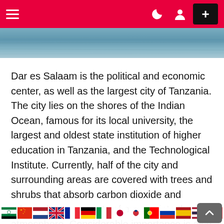Navigation bar with hamburger menu, dark mode icon, user icon, and plus button
[Figure (photo): Partial view of a water/ocean scene, appearing as a blue-grey image strip below the navigation bar]
Dar es Salaam is the political and economic center, as well as the largest city of Tanzania. The city lies on the shores of the Indian Ocean, famous for its local university, the largest and oldest state institution of higher education in Tanzania, and the Technological Institute. Currently, half of the city and surrounding areas are covered with trees and shrubs that absorb carbon dioxide and release large amounts of oxygen into the atmosphere. Considerable importance is also given to the cleaning of reservoirs. The local government continually takes measures to remove
Flag icons row: Arabic, Chinese, Dutch, UK, French, German, Italian, Japanese, Korean, Portuguese, Russian, Spanish, Thai, Turkish flags; scroll-to-top button